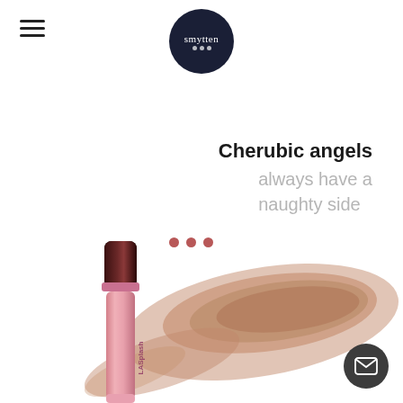[Figure (logo): Smytten brand logo — dark navy circle with 'smytten' text in white serif font and three white dots below]
[Figure (illustration): Hamburger menu icon — three horizontal dark lines stacked vertically in top-left corner]
Cherubic angels
always have a naughty side
[Figure (illustration): Three small dark rose/mauve dots as a decorative element]
[Figure (photo): LASplash lip product (lipgloss/liquid lipstick) in rose-gold tube with dark cap standing upright, with a large nude/tan color swatch smeared behind it on white background]
[Figure (illustration): Dark gray circular mail/envelope button in bottom-right corner]